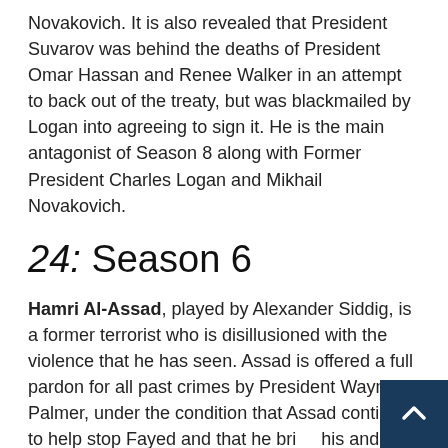Novakovich. It is also revealed that President Suvarov was behind the deaths of President Omar Hassan and Renee Walker in an attempt to back out of the treaty, but was blackmailed by Logan into agreeing to sign it. He is the main antagonist of Season 8 along with Former President Charles Logan and Mikhail Novakovich.
24: Season 6
Hamri Al-Assad, played by Alexander Siddig, is a former terrorist who is disillusioned with the violence that he has seen. Assad is offered a full pardon for all past crimes by President Wayne Palmer, under the condition that Assad continue to help stop Fayed and that he bring his and all other affiliated organizations to peace talks. Before he is about to give a